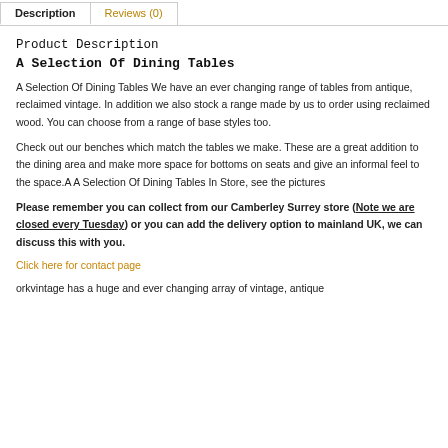Description | Reviews (0)
Product Description
A Selection Of Dining Tables
A Selection Of Dining Tables We have an ever changing range of tables from antique, reclaimed vintage. In addition we also stock a range made by us to order using reclaimed wood. You can choose from a range of base styles too.
Check out our benches which match the tables we make. These are a great addition to the dining area and make more space for bottoms on seats and give an informal feel to the space.A A Selection Of Dining Tables In Store, see the pictures
Please remember you can collect from our Camberley Surrey store (Note we are closed every Tuesday) or you can add the delivery option to mainland UK, we can discuss this with you.
Click here for contact page
orkvintage has a huge and ever changing array of vintage, antique